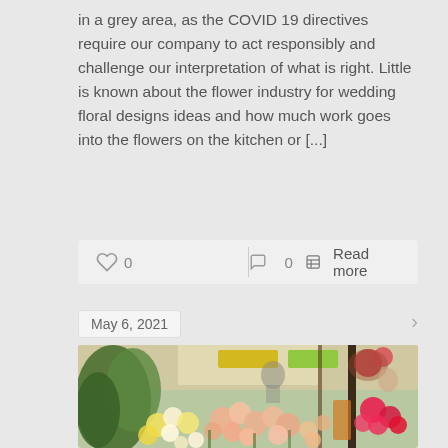in a grey area, as the COVID 19 directives require our company to act responsibly and challenge our interpretation of what is right. Little is known about the flower industry for wedding floral designs ideas and how much work goes into the flowers on the kitchen or [...]
♡ 0   💬 0   Read more
May 6, 2021
[Figure (photo): A colorful flower shop display with various flowers including pink roses, yellow flowers, white blooms, and red flowers arranged in a market stall setting. People are visible in the background.]